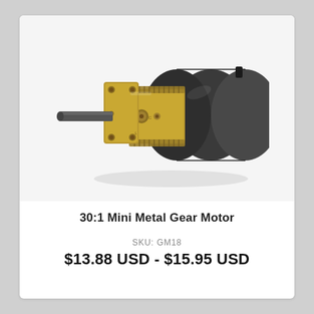[Figure (photo): 30:1 Mini Metal Gear Motor product photo showing a small DC gear motor with gold/brass colored metal gearbox and mounting plate, with a protruding metal shaft on the left and a cylindrical black motor body on the right.]
30:1 Mini Metal Gear Motor
SKU: GM18
$13.88 USD - $15.95 USD